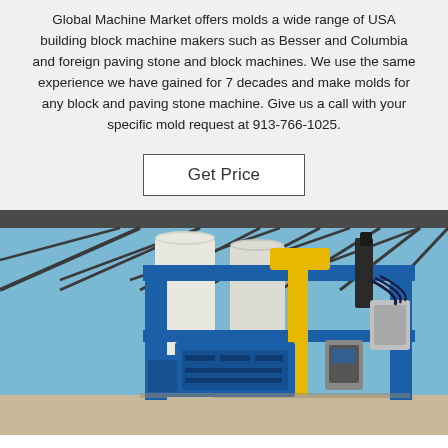Global Machine Market offers molds a wide range of USA building block machine makers such as Besser and Columbia and foreign paving stone and block machines. We use the same experience we have gained for 7 decades and make molds for any block and paving stone machine. Give us a call with your specific mold request at 913-766-1025.
Get Price
[Figure (photo): Industrial building block machine with blue steel frame structure, yellow hydraulic components, and concrete silos in the background under a steel roof with blue sky visible.]